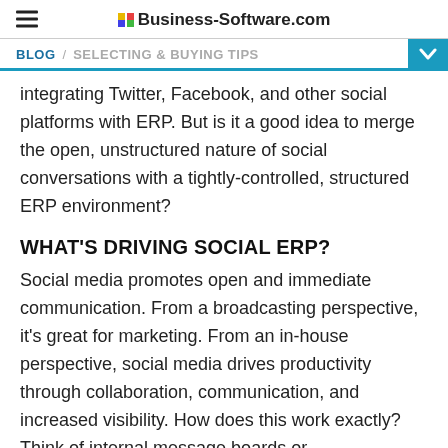Business-Software.com
BLOG / SELECTING & BUYING TIPS
integrating Twitter, Facebook, and other social platforms with ERP. But is it a good idea to merge the open, unstructured nature of social conversations with a tightly-controlled, structured ERP environment?
WHAT'S DRIVING SOCIAL ERP?
Social media promotes open and immediate communication. From a broadcasting perspective, it's great for marketing. From an in-house perspective, social media drives productivity through collaboration, communication, and increased visibility. How does this work exactly? Think of internal message boards or